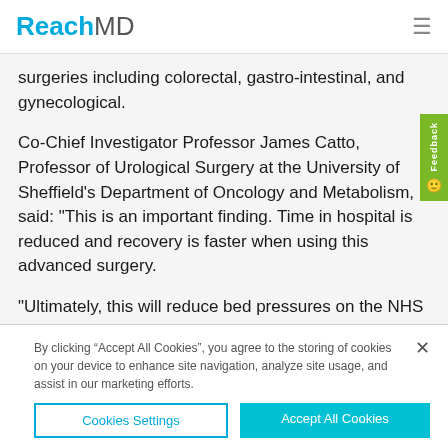ReachMD
surgeries including colorectal, gastro-intestinal, and gynecological.
Co-Chief Investigator Professor James Catto, Professor of Urological Surgery at the University of Sheffield's Department of Oncology and Metabolism, said: "This is an important finding. Time in hospital is reduced and recovery is faster when using this advanced surgery.
"Ultimately, this will reduce bed pressures on the NHS and allow patients to return home more quickly. We see fewer complications from the improved mobility and less time spent in bed.
By clicking “Accept All Cookies”, you agree to the storing of cookies on your device to enhance site navigation, analyze site usage, and assist in our marketing efforts.